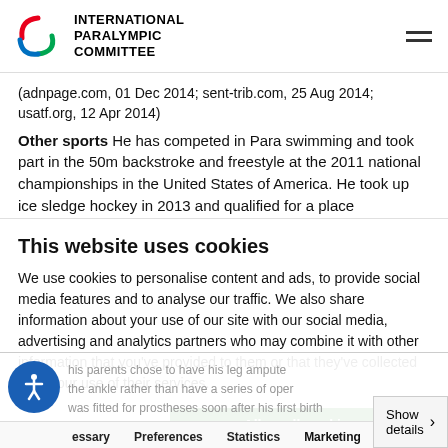INTERNATIONAL PARALYMPIC COMMITTEE
(adnpage.com, 01 Dec 2014; sent-trib.com, 25 Aug 2014; usatf.org, 12 Apr 2014)
Other sports He has competed in Para swimming and took part in the 50m backstroke and freestyle at the 2011 national championships in the United States of America. He took up ice sledge hockey in 2013 and qualified for a place
This website uses cookies
We use cookies to personalise content and ads, to provide social media features and to analyse our traffic. We also share information about your use of our site with our social media, advertising and analytics partners who may combine it with other information that you've provided to them or that they've collected from your use of their services.
Allow all cookies
Allow selection
Use necessary cookies only
his parents chose to have his leg amputee... the ankle rather than have a series of oper... was fitted for prostheses soon after his first birth...
Necessary   Preferences   Statistics   Marketing   Show details